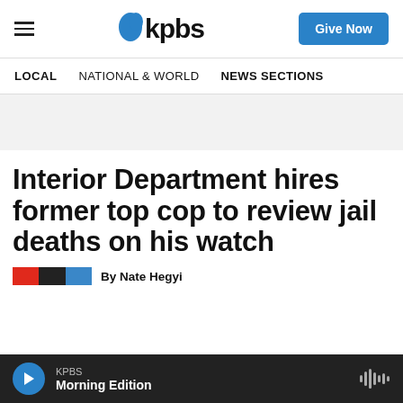KPBS — Give Now
LOCAL   NATIONAL & WORLD   NEWS SECTIONS
Interior Department hires former top cop to review jail deaths on his watch
By Nate Hegyi
KPBS Morning Edition